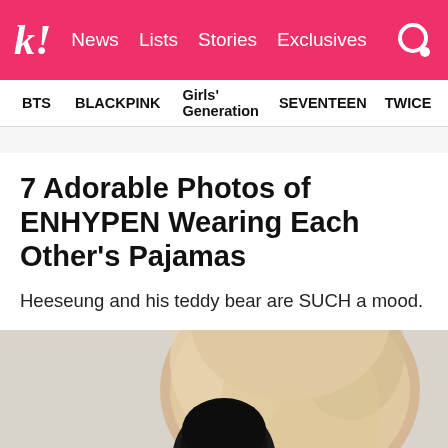k! News Lists Stories Exclusives
BTS   BLACKPINK   Girls' Generation   SEVENTEEN   TWICE
7 Adorable Photos of ENHYPEN Wearing Each Other's Pajamas
Heeseung and his teddy bear are SUCH a mood.
[Figure (photo): A person with dark hair hugging or hiding behind a large cream/tan colored fluffy teddy bear, against a light gray background.]